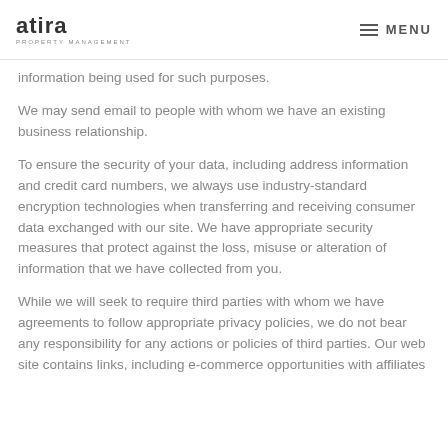atira PROPERTY MANAGEMENT | MENU
information being used for such purposes.
We may send email to people with whom we have an existing business relationship.
To ensure the security of your data, including address information and credit card numbers, we always use industry-standard encryption technologies when transferring and receiving consumer data exchanged with our site. We have appropriate security measures that protect against the loss, misuse or alteration of information that we have collected from you.
While we will seek to require third parties with whom we have agreements to follow appropriate privacy policies, we do not bear any responsibility for any actions or policies of third parties. Our web site contains links, including e-commerce opportunities with affiliates